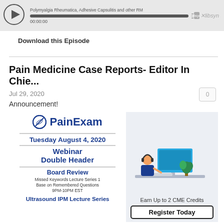[Figure (other): Audio player with play button, progress bar, timestamp 00:00:00 and libsyn logo. Title: Polymyalgia Rheumatica, Adhesive Capsulitis and other RM]
Download this Episode
Pain Medicine Case Reports- Editor In Chie...
Jul 29, 2020
Announcement!
[Figure (infographic): PainExam promotional image for Tuesday August 4, 2020 Webinar Double Header featuring Board Review (Missed Keywords Lecture Series 1, Base on Remembered Questions, 9PM-10PM EST) and Ultrasound IPM Lecture Series. Right side shows person at computer with text Earn Up to 2 CME Credits and Register Today button.]